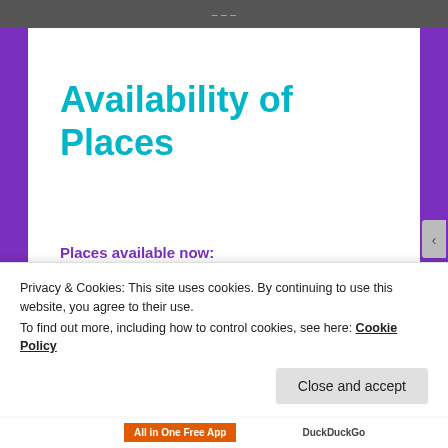Availability of Places
Places available now:
Click here for more information on all the instruments listed below and here for info on minimum ages.
Privacy & Cookies: This site uses cookies. By continuing to use this website, you agree to their use.
To find out more, including how to control cookies, see here: Cookie Policy
Close and accept